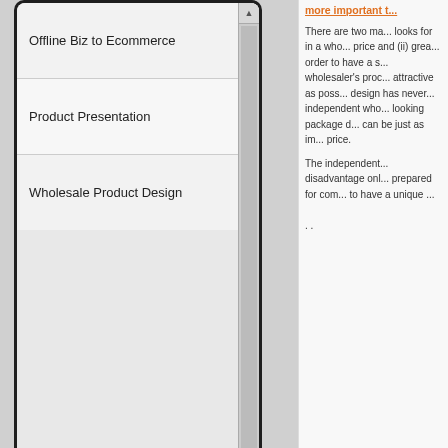Offline Biz to Ecommerce
Product Presentation
Wholesale Product Design
[Figure (other): Plugin placeholder box with text: Couldn't load plugin.]
more important t...
There are two ma... looks for in a who... price and (ii) grea... order to have a s... wholesaler's proc... attractive as poss... design has never... independent who... looking package ... can be just as im... price.
The independent... disadvantage onl... prepared for com... to have a unique ...
Home | Company | Services | Portfolio | Articles | Faq's | Co...
© 2012 Touch Media Design All Rights Reserved.